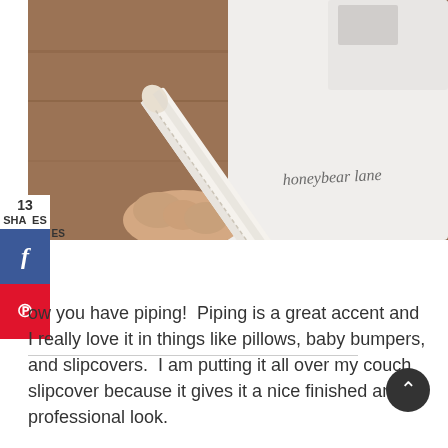[Figure (photo): Close-up photo of homemade fabric piping/cording being held between fingers near a sewing machine. The piping is white/cream colored fabric folded over with visible stitching and raw edges. A watermark reads 'honeybear lane' in cursive. Background is a white sewing machine on a wooden surface.]
ow you have piping!  Piping is a great accent and I really love it in things like pillows, baby bumpers, and slipcovers.  I am putting it all over my couch slipcover because it gives it a nice finished and professional look.